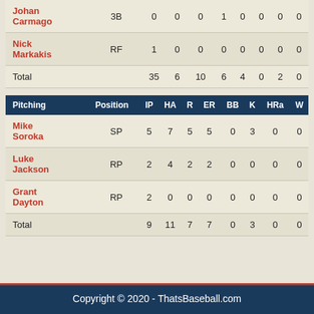|  | Position | AB | R | H | RBI | BB | K | SB | CS |
| --- | --- | --- | --- | --- | --- | --- | --- | --- | --- |
| Johan Carmago | 3B | 0 | 0 | 0 | 1 | 0 | 0 | 0 | 0 |
| Nick Markakis | RF | 1 | 0 | 0 | 0 | 0 | 0 | 0 | 0 |
| Total |  | 35 | 6 | 10 | 6 | 4 | 0 | 2 | 0 |
| Pitching | Position | IP | HA | R | ER | BB | K | HRa | W |
| --- | --- | --- | --- | --- | --- | --- | --- | --- | --- |
| Mike Soroka | SP | 5 | 7 | 5 | 5 | 0 | 3 | 0 | 0 |
| Luke Jackson | RP | 2 | 4 | 2 | 2 | 0 | 0 | 0 | 0 |
| Grant Dayton | RP | 2 | 0 | 0 | 0 | 0 | 0 | 0 | 0 |
| Total |  | 9 | 11 | 7 | 7 | 0 | 3 | 0 | 0 |
Copyright © 2020 - ThatsBaseball.com